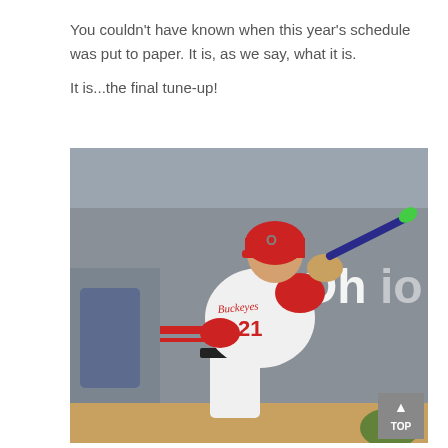You couldn't have known when this year's schedule was put to paper.  It is, as we say, what it is.

It is...the final tune-up!
[Figure (photo): A baseball player wearing a white uniform with number 21 and a red helmet is mid-swing with a bat. The background shows a gray wall with 'Ohio' text visible. A partial view of a catcher's mitt is visible at lower right.]